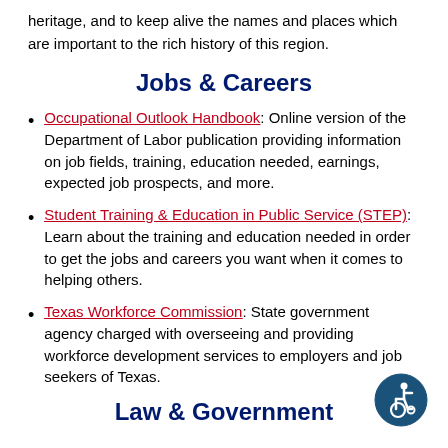heritage, and to keep alive the names and places which are important to the rich history of this region.
Jobs & Careers
Occupational Outlook Handbook: Online version of the Department of Labor publication providing information on job fields, training, education needed, earnings, expected job prospects, and more.
Student Training & Education in Public Service (STEP): Learn about the training and education needed in order to get the jobs and careers you want when it comes to helping others.
Texas Workforce Commission: State government agency charged with overseeing and providing workforce development services to employers and job seekers of Texas.
Law & Government